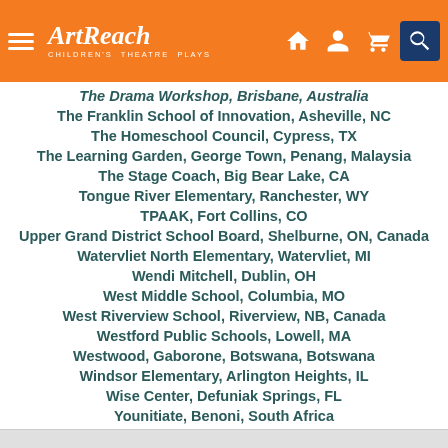ArtReach Children's Theatre Plays
The Drama Workshop, Brisbane, Australia
The Franklin School of Innovation, Asheville, NC
The Homeschool Council, Cypress, TX
The Learning Garden, George Town, Penang, Malaysia
The Stage Coach, Big Bear Lake, CA
Tongue River Elementary, Ranchester, WY
TPAAK, Fort Collins, CO
Upper Grand District School Board, Shelburne, ON, Canada
Watervliet North Elementary, Watervliet, MI
Wendi Mitchell, Dublin, OH
West Middle School, Columbia, MO
West Riverview School, Riverview, NB, Canada
Westford Public Schools, Lowell, MA
Westwood, Gaborone, Botswana, Botswana
Windsor Elementary, Arlington Heights, IL
Wise Center, Defuniak Springs, FL
Younitiate, Benoni, South Africa
YPT, Cottleville, MO
All Productions - Productions World Map